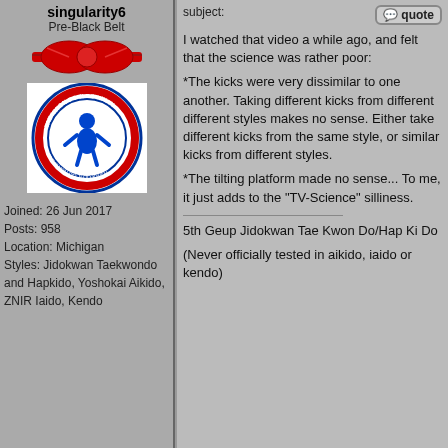singularity6
Pre-Black Belt
[Figure (illustration): Red belt bow tie icon]
[Figure (logo): Tae Kwon Do Ji Do Kwan circular emblem with blue figure in center]
Joined: 26 Jun 2017
Posts: 958
Location: Michigan
Styles: Jidokwan Taekwondo and Hapkido, Yoshokai Aikido, ZNIR Iaido, Kendo
subject:

I watched that video a while ago, and felt that the science was rather poor:

*The kicks were very dissimilar to one another. Taking different kicks from different different styles makes no sense. Either take different kicks from the same style, or similar kicks from different styles.

*The tilting platform made no sense... To me, it just adds to the "TV-Science" silliness.

5th Geup Jidokwan Tae Kwon Do/Hap Ki Do

(Never officially tested in aikido, iaido or kendo)
Back to top
OneKickWonder
Purple Belt
[Figure (illustration): Purple belt bow tie icon]
Joined: 17 Feb 2018
Posts: 513

Styles: Tang soo do
Posted: Fri Jul 13, 2018 5:52 am   Post subject:

singularity6 wrote:
I watched that video a while ago, and felt that the science was rather poor:

*The kicks were very dissimilar to one another.